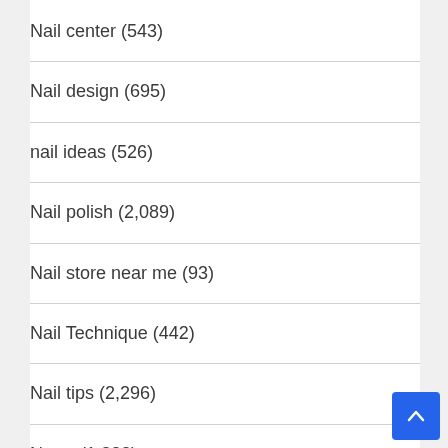Nail center (543)
Nail design (695)
nail ideas (526)
Nail polish (2,089)
Nail store near me (93)
Nail Technique (442)
Nail tips (2,296)
News (1,332)
Statistics Nails (33)